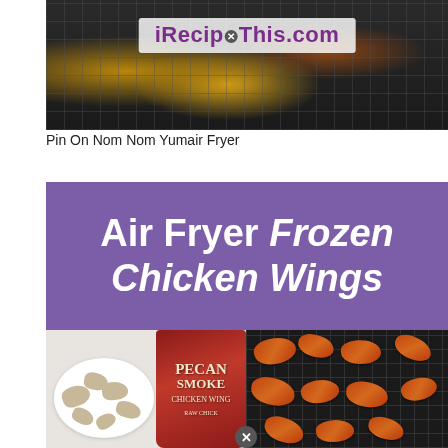[Figure (photo): Photo of fried/breaded food on a dark wire rack with iRecipeThis.com logo banner overlay]
Pin On Nom Nom Yumair Fryer
Air Fryer Frozen Chicken Wings
[Figure (photo): Collage of two images: left shows breaded frozen chicken wings on a white plate next to a red Pecan Smoked Chicken Wings bag; right shows golden fried chicken wings in a black air fryer basket]